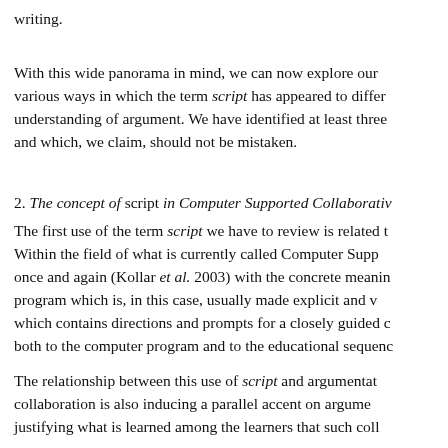writing.
With this wide panorama in mind, we can now explore our various ways in which the term script has appeared to differ understanding of argument. We have identified at least three and which, we claim, should not be mistaken.
2. The concept of script in Computer Supported Collaborative
The first use of the term script we have to review is related t Within the field of what is currently called Computer Supp once and again (Kollar et al. 2003) with the concrete meanin program which is, in this case, usually made explicit and v which contains directions and prompts for a closely guided c both to the computer program and to the educational sequenc
The relationship between this use of script and argumentat collaboration is also inducing a parallel accent on argume justifying what is learned among the learners that such coll